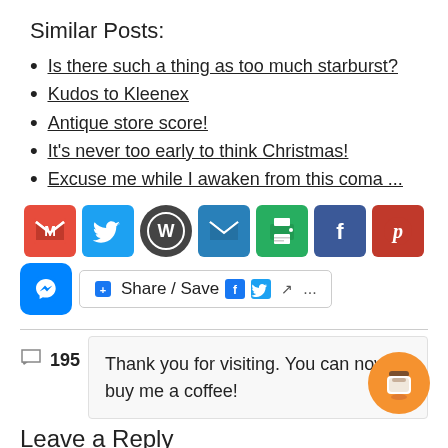Similar Posts:
Is there such a thing as too much starburst?
Kudos to Kleenex
Antique store score!
It's never too early to think Christmas!
Excuse me while I awaken from this coma ...
[Figure (screenshot): Row of social sharing icons: Gmail (red M), Twitter (blue bird), WordPress (dark circle), Email (blue envelope), Print (green printer), Facebook (blue f), Pinterest (dark red P); below: Messenger button and Share/Save button with Facebook, Twitter, share icons and ellipsis]
195
Thank you for visiting. You can now buy me a coffee!
Leave a Reply